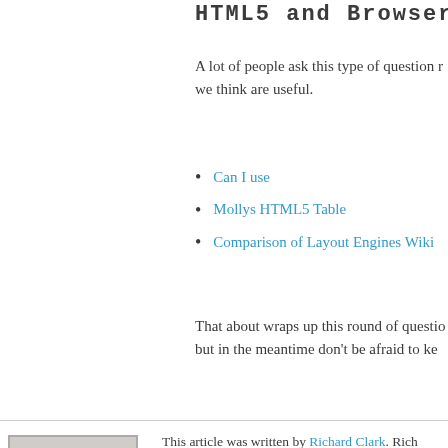HTML5 and Browser C
A lot of people ask this type of question r we think are useful.
Can I use
Mollys HTML5 Table
Comparison of Layout Engines Wiki
That about wraps up this round of questio but in the meantime don’t be afraid to ke
[Figure (photo): Headshot photo of Richard Clark, a smiling young man with short brown hair, wearing a light pink shirt.]
This article was written by Richard Clark. Rich Digitata, a digital agency based in Manchester, and CSS3: The Web Evolved. He runs a host o site html5gallery. Another side project is Speal conferences. You should follow him on twitter